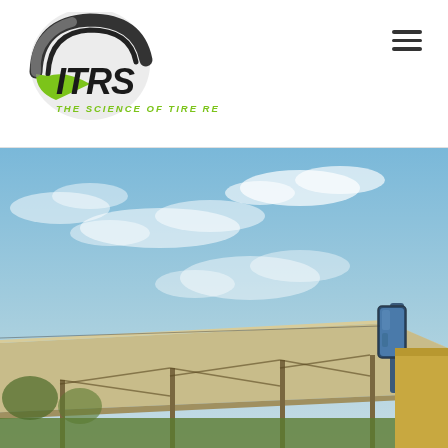[Figure (logo): ITRS logo with tire graphic and tagline THE SCIENCE OF TIRE REPAIR]
[Figure (photo): Outdoor scene with blue sky and clouds, a large canopy or awning structure, and a truck side mirror visible on the right side]